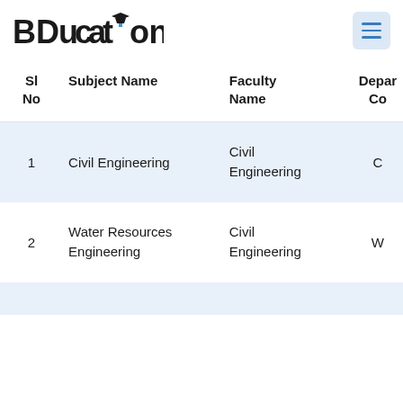BDucation
| Sl No | Subject Name | Faculty Name | Depar Co |
| --- | --- | --- | --- |
| 1 | Civil Engineering | Civil Engineering | C |
| 2 | Water Resources Engineering | Civil Engineering | W |